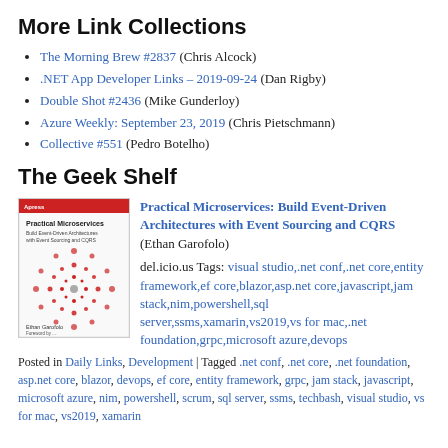More Link Collections
The Morning Brew #2837 (Chris Alcock)
.NET App Developer Links – 2019-09-24 (Dan Rigby)
Double Shot #2436 (Mike Gunderloy)
Azure Weekly: September 23, 2019 (Chris Pietschmann)
Collective #551 (Pedro Botelho)
The Geek Shelf
[Figure (photo): Book cover of Practical Microservices: Build Event-Driven Architectures with Event Sourcing and CQRS by Ethan Garofolo, with red circular abstract design on white background]
Practical Microservices: Build Event-Driven Architectures with Event Sourcing and CQRS (Ethan Garofolo)

del.icio.us Tags: visual studio,.net conf,.net core,entity framework,ef core,blazor,asp.net core,javascript,jam stack,nim,powershell,sql server,ssms,xamarin,vs2019,vs for mac,.net foundation,grpc,microsoft azure,devops
Posted in Daily Links, Development | Tagged .net conf, .net core, .net foundation, asp.net core, blazor, devops, ef core, entity framework, grpc, jam stack, javascript, microsoft azure, nim, powershell, scrum, sql server, ssms, techbash, visual studio, vs for mac, vs2019, xamarin